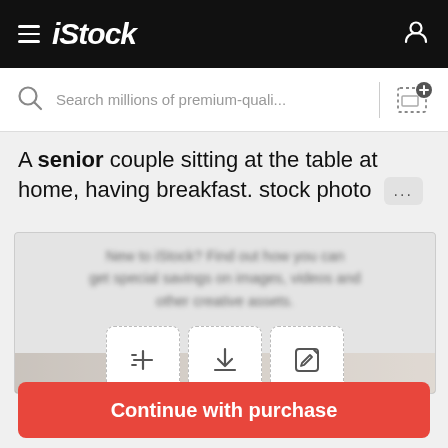iStock
Search millions of premium-quali...
A senior couple sitting at the table at home, having breakfast. stock photo
[Figure (screenshot): iStock photo purchase UI with blurred overlay showing action buttons (add to board, download, edit) and partial image of senior couple at breakfast table]
$12 | 1 credit
Continue with purchase